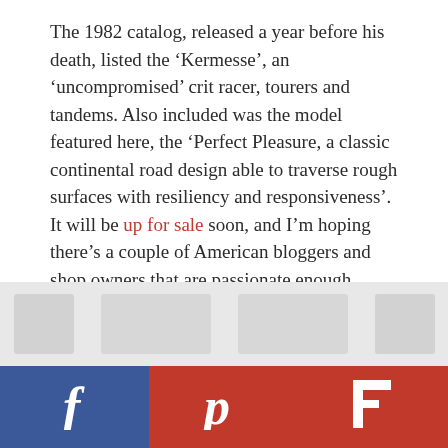The 1982 catalog, released a year before his death, listed the 'Kermesse', an 'uncompromised' crit racer, tourers and tandems. Also included was the model featured here, the 'Perfect Pleasure, a classic continental road design able to traverse rough surfaces with resiliency and responsiveness'. It will be up for sale soon, and I'm hoping there's a couple of American bloggers and shop owners that are passionate enough about their country's glorious cycling culture to keep it in the family.
Special thanks to Classic Rendezvous, OakWooD Bicycle and flickr user oroboyz for the reference.
[Figure (other): Blurred thumbnail images of bicycles at the bottom of the page]
[Figure (infographic): Social sharing bar with Facebook (blue), Pinterest (red), and Flipboard (red) buttons with icons]